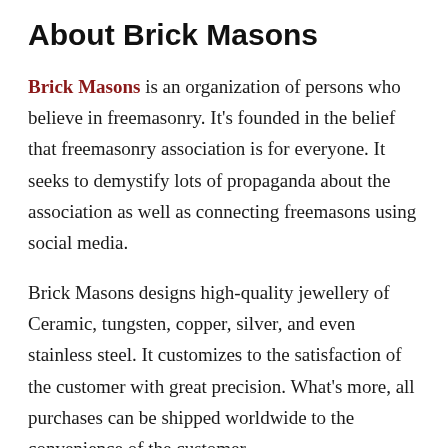About Brick Masons
Brick Masons is an organization of persons who believe in freemasonry. It's founded in the belief that freemasonry association is for everyone. It seeks to demystify lots of propaganda about the association as well as connecting freemasons using social media.
Brick Masons designs high-quality jewellery of Ceramic, tungsten, copper, silver, and even stainless steel. It customizes to the satisfaction of the customer with great precision. What's more, all purchases can be shipped worldwide to the convenience of the customer.
Plans are underway to have an outreach program